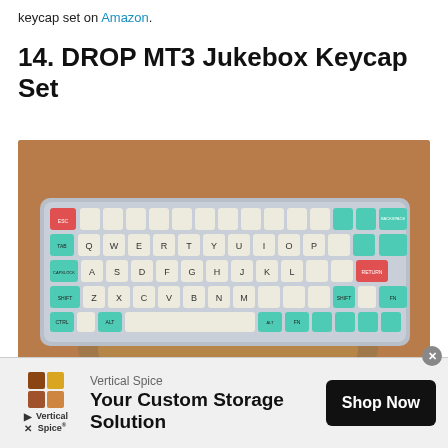keycap set on Amazon.
14. DROP MT3 Jukebox Keycap Set
[Figure (photo): Photo of a DROP MT3 Jukebox keycap set on a keyboard being held in a hand, showing teal/mint, cream/beige, and red keycaps on a compact 65% keyboard layout, with a wooden surface in the background.]
[Figure (other): Advertisement banner for Vertical Spice: 'Your Custom Storage Solution' with Shop Now button.]